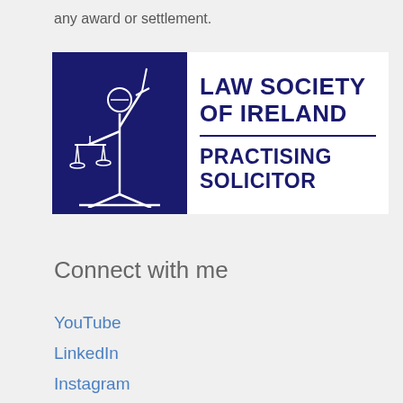any award or settlement.
[Figure (logo): Law Society of Ireland – Practising Solicitor logo. Left side: dark navy blue square with white line-art of Lady Justice holding scales and sword. Right side: white background with 'LAW SOCIETY OF IRELAND' in large navy text, a horizontal navy divider line, then 'PRACTISING SOLICITOR' in bold navy text below.]
Connect with me
YouTube
LinkedIn
Instagram
Facebook